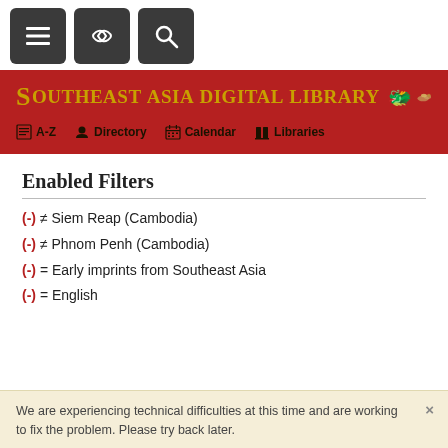[Figure (screenshot): Navigation bar with three dark square icon buttons: hamburger menu, link/chain icon, and search magnifier icon]
Southeast Asia Digital Library
A-Z  Directory  Calendar  Libraries
Enabled Filters
(-) ≠ Siem Reap (Cambodia)
(-) ≠ Phnom Penh (Cambodia)
(-) = Early imprints from Southeast Asia
(-) = English
We are experiencing technical difficulties at this time and are working to fix the problem. Please try back later.